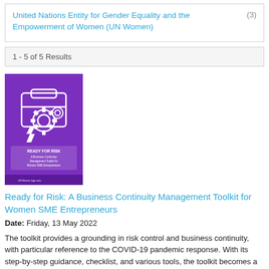United Nations Entity for Gender Equality and the Empowerment of Women (UN Women) (3)
1 - 5 of 5 Results
[Figure (illustration): Purple book cover titled 'Ready for Risk: A Business Continuity Management Toolkit for Women SME Entrepreneurs' with white line art icons of a briefcase and gear.]
Ready for Risk: A Business Continuity Management Toolkit for Women SME Entrepreneurs
Date: Friday, 13 May 2022
The toolkit provides a grounding in risk control and business continuity, with particular reference to the COVID-19 pandemic response. With its step-by-step guidance, checklist, and various tools, the toolkit becomes a self-learning tool for SME leaders across the world, so that they can better address risks and build their own gender- responsive business continuity management system.